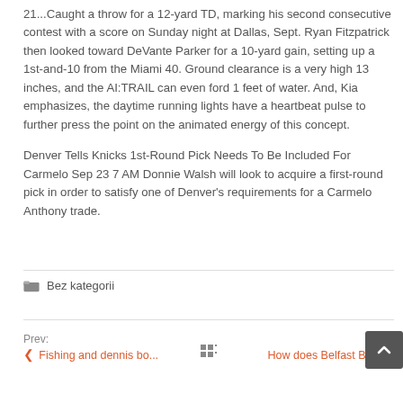21...Caught a throw for a 12-yard TD, marking his second consecutive contest with a score on Sunday night at Dallas, Sept. Ryan Fitzpatrick then looked toward DeVante Parker for a 10-yard gain, setting up a 1st-and-10 from the Miami 40. Ground clearance is a very high 13 inches, and the AI:TRAIL can even ford 1 feet of water. And, Kia emphasizes, the daytime running lights have a heartbeat pulse to further press the point on the animated energy of this concept.
Denver Tells Knicks 1st-Round Pick Needs To Be Included For Carmelo Sep 23 7 AM Donnie Walsh will look to acquire a first-round pick in order to satisfy one of Denver's requirements for a Carmelo Anthony trade.
Bez kategorii
Prev: Fishing and dennis bo... | Next: How does Belfast Bu...